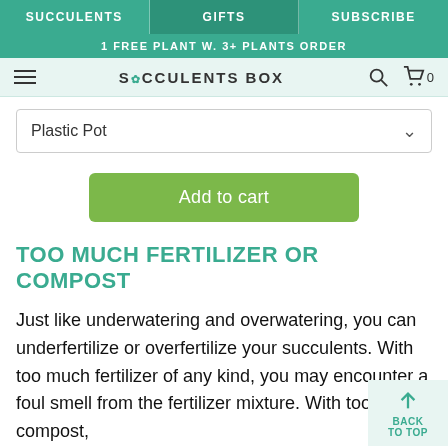SUCCULENTS | GIFTS | SUBSCRIBE
1 FREE PLANT W. 3+ PLANTS ORDER
SUCCULENTS BOX
Plastic Pot
Add to cart
TOO MUCH FERTILIZER OR COMPOST
Just like underwatering and overwatering, you can underfertilize or overfertilize your succulents. With too much fertilizer of any kind, you may encounter a foul smell from the fertilizer mixture. With too much compost,